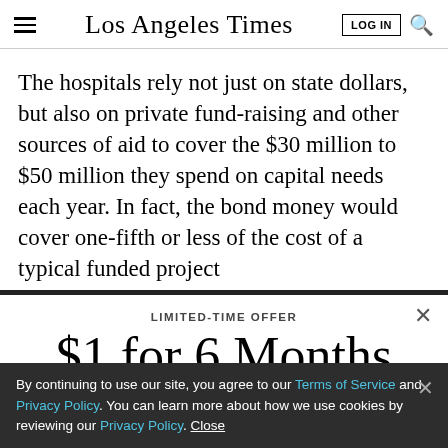Los Angeles Times
The hospitals rely not just on state dollars, but also on private fund-raising and other sources of aid to cover the $30 million to $50 million they spend on capital needs each year. In fact, the bond money would cover one-fifth or less of the cost of a typical funded project
LIMITED-TIME OFFER
$1 for 6 Months
SUBSCRIBE NOW
By continuing to use our site, you agree to our Terms of Service and Privacy Policy. You can learn more about how we use cookies by reviewing our Privacy Policy. Close